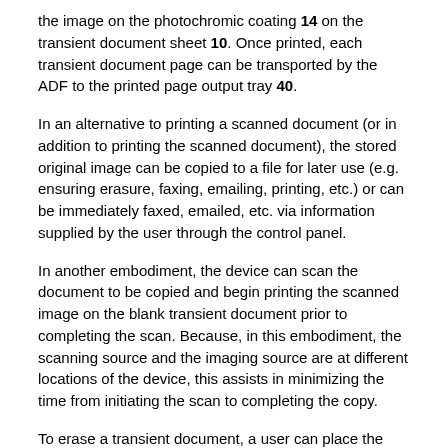the image on the photochromic coating 14 on the transient document sheet 10. Once printed, each transient document page can be transported by the ADF to the printed page output tray 40.
In an alternative to printing a scanned document (or in addition to printing the scanned document), the stored original image can be copied to a file for later use (e.g. ensuring erasure, faxing, emailing, printing, etc.) or can be immediately faxed, emailed, etc. via information supplied by the user through the control panel.
In another embodiment, the device can scan the document to be copied and begin printing the scanned image on the blank transient document prior to completing the scan. Because, in this embodiment, the scanning source and the imaging source are at different locations of the device, this assists in minimizing the time from initiating the scan to completing the copy.
To erase a transient document, a user can place the page(s) to be erased in the "to be erased" storage area 32. After selecting the erase function from the control panel, the ADF can select each page in turn using the pickup